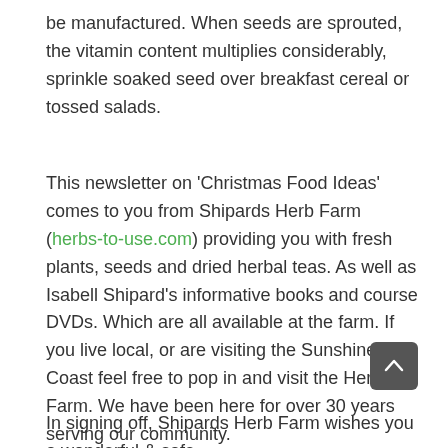be manufactured. When seeds are sprouted, the vitamin content multiplies considerably, sprinkle soaked seed over breakfast cereal or tossed salads.
This newsletter on 'Christmas Food Ideas' comes to you from Shipards Herb Farm (herbs-to-use.com) providing you with fresh plants, seeds and dried herbal teas. As well as Isabell Shipard's informative books and course DVDs. Which are all available at the farm. If you live local, or are visiting the Sunshine Coast feel free to pop in and visit the Herb Farm. We have been here for over 30 years serving our community. Herbs are Special, provides you with free herb and sprout information and can help you with all your online book and DVD purchases too.
In signing off, Shipards Herb Farm wishes you a wonderful & safe